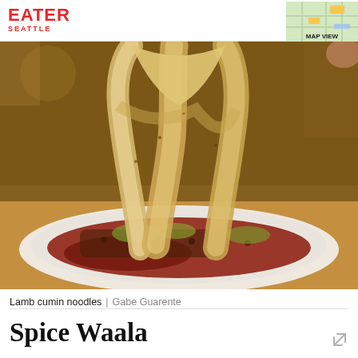EATER SEATTLE | MAP VIEW
[Figure (photo): Close-up photo of lamb cumin noodles being lifted from a white bowl with red broth and minced meat, taken at a restaurant]
Lamb cumin noodles | Gabe Guarente
Spice Waala